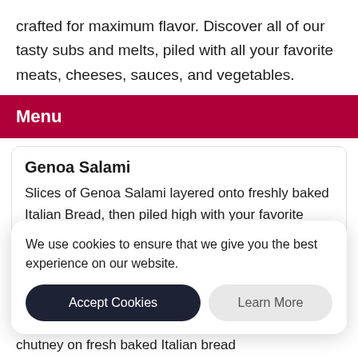crafted for maximum flavor. Discover all of our tasty subs and melts, piled with all your favorite meats, cheeses, sauces, and vegetables.
Menu
Genoa Salami
Slices of Genoa Salami layered onto freshly baked Italian Bread, then piled high with your favorite veggies, like lettuce, tomatoes, cucumbers, green peppers and zesty red onions.
We use cookies to ensure that we give you the best experience on our website.
chutney on fresh baked Italian bread